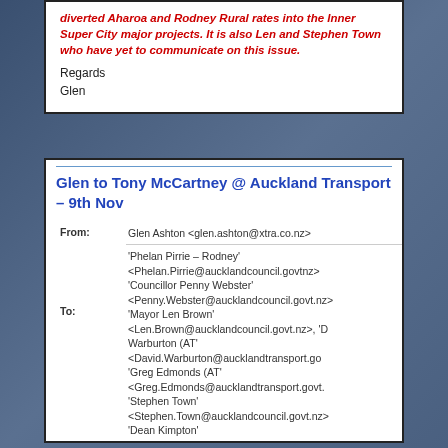diverted Aharoa and Rodney Rural rates into the Inner Super City major projects. It is also Len and Stephen Town who have yet to communicate on this issue.
Regards
Glen
Glen to Tony McCartney @ Auckland Transport – 9th Nov
| Field | Value |
| --- | --- |
| From: | Glen Ashton <glen.ashton@xtra.co.nz> |
| To: | 'Phelan Pirrie – Rodney' <Phelan.Pirrie@aucklandcouncil.govt.nz> 'Councillor Penny Webster' <Penny.Webster@aucklandcouncil.govt.nz> 'Mayor Len Brown' <Len.Brown@aucklandcouncil.govt.nz>, 'D Warburton (AT' <David.Warburton@aucklandtransport.govt.nz> 'Greg Edmonds (AT' <Greg.Edmonds@aucklandtransport.govt.nz> 'Stephen Town' <Stephen.Town@aucklandcouncil.govt.nz> 'Dean Kimpton' |